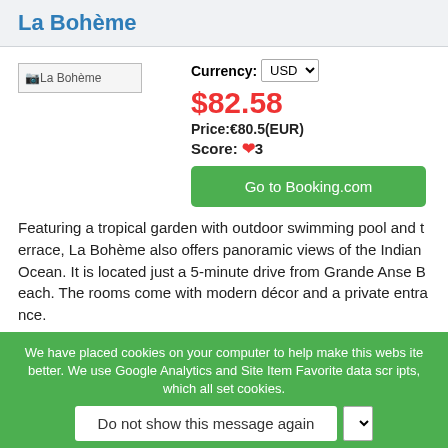La Bohème
[Figure (photo): La Bohème hotel image placeholder]
Currency: USD
$82.58
Price:€80.5(EUR)
Score: ❤3
Go to Booking.com
Featuring a tropical garden with outdoor swimming pool and terrace, La Bohème also offers panoramic views of the Indian Ocean. It is located just a 5-minute drive from Grande Anse Beach. The rooms come with modern décor and a private entrance.
We have placed cookies on your computer to help make this website better. We use Google Analytics and Site Item Favorite data scripts, which all set cookies.
Do not show this message again
[Figure (screenshot): Tulip inn partial listing with image placeholder and currency selector showing $72.94 price]